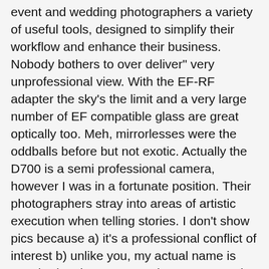event and wedding photographers a variety of useful tools, designed to simplify their workflow and enhance their business. Nobody bothers to over deliver" very unprofessional view. With the EF-RF adapter the sky's the limit and a very large number of EF compatible glass are great optically too. Meh, mirrorlesses were the oddballs before but not exotic. Actually the D700 is a semi professional camera, however I was in a fortunate position. Their photographers stray into areas of artistic execution when telling stories. I don't show pics because a) it's a professional conflict of interest b) unlike you, my actual name is attached to them. Tamron has announced its 17-70mm F2.8 Di III-A VC RXD lens for Sony APS-C bodies. You clearly have no idea of what an A9 especially with current firmware is capable of, with native glass and even with Canon glass. Your problem is you can't handle being wrong. Worth mentioning are some annoying and seemingly arbitrary ergonomic limitations that affect this camera, as well as other Canon models:1) The electronic level disappears when you enable face-/eye-detect AF.2) The electronic level, as